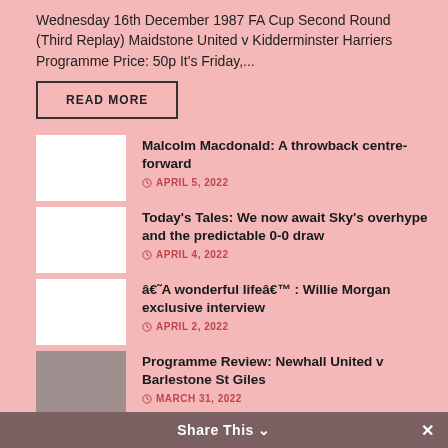Wednesday 16th December 1987 FA Cup Second Round (Third Replay) Maidstone United v Kidderminster Harriers Programme Price: 50p It's Friday,...
READ MORE
Malcolm Macdonald: A throwback centre-forward
APRIL 5, 2022
Today's Tales: We now await Sky's overhype and the predictable 0-0 draw
APRIL 4, 2022
â€˜A wonderful lifeâ€™ : Willie Morgan exclusive interview
APRIL 2, 2022
Programme Review: Newhall United v Barlestone St Giles
MARCH 31, 2022
Share This